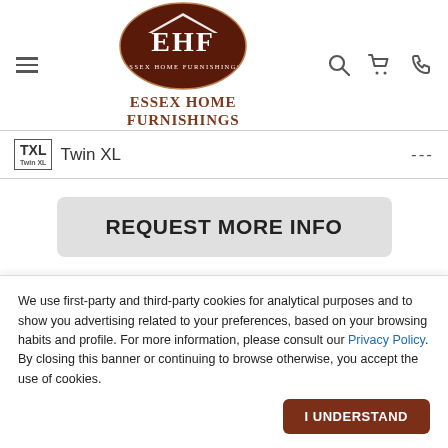[Figure (logo): Essex Home Furnishings logo: dark brown oval with EHF letters and brand name inside, below text reads Essex Home Furnishings]
Twin XL   ---
REQUEST MORE INFO
We use first-party and third-party cookies for analytical purposes and to show you advertising related to your preferences, based on your browsing habits and profile. For more information, please consult our Privacy Policy. By closing this banner or continuing to browse otherwise, you accept the use of cookies.
I UNDERSTAND